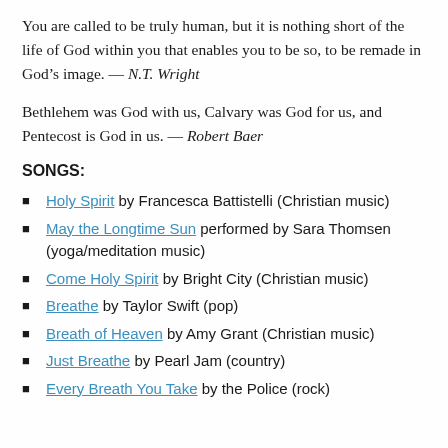You are called to be truly human, but it is nothing short of the life of God within you that enables you to be so, to be remade in God’s image. — N.T. Wright
Bethlehem was God with us, Calvary was God for us, and Pentecost is God in us. — Robert Baer
SONGS:
Holy Spirit by Francesca Battistelli (Christian music)
May the Longtime Sun performed by Sara Thomsen (yoga/meditation music)
Come Holy Spirit by Bright City (Christian music)
Breathe by Taylor Swift (pop)
Breath of Heaven by Amy Grant (Christian music)
Just Breathe by Pearl Jam (country)
Every Breath You Take by the Police (rock)